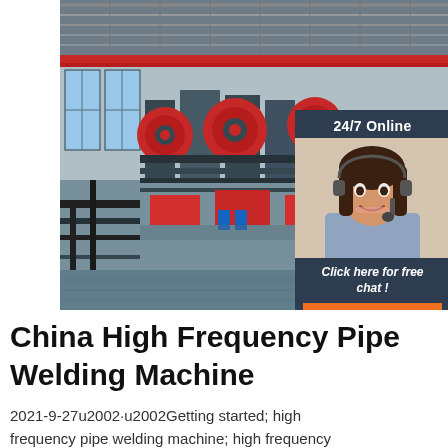[Figure (photo): Interior of a large industrial factory with high-frequency pipe welding machines. The factory has a high ceiling with steel trusses, red overhead crane, and rows of red and black industrial pipe welding equipment on the floor. Natural light enters through windows on the left side. An overlaid panel on the right shows a customer service representative with headset (24/7 Online), a 'Click here for free chat!' message, and an orange QUOTATION button.]
China High Frequency Pipe Welding Machine
2021-9-27u2002·u2002Getting started; high frequency pipe welding machine; high frequency